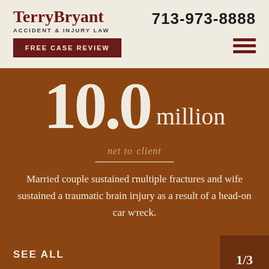TerryBryant ACCIDENT & INJURY LAW | 713-973-8888
FREE CASE REVIEW
10.0 million
net to client
Married couple sustained multiple fractures and wife sustained a traumatic brain injury as a result of a head-on car wreck.
SEE ALL
1/3
CLIENT